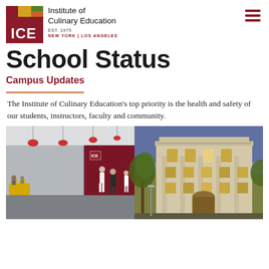Institute of Culinary Education EST. 1975 NEW YORK | LOS ANGELES
School Status
Campus Updates
The Institute of Culinary Education's top priority is the health and safety of our students, instructors, faculty and community.
[Figure (photo): Two campus photos side by side: left shows the modern interior lobby/hallway of the New York campus with red pendant lights and a red accent wall with ICE logo; right shows the exterior of the Los Angeles campus building, a classical multi-story beige building with trees in front at dusk.]